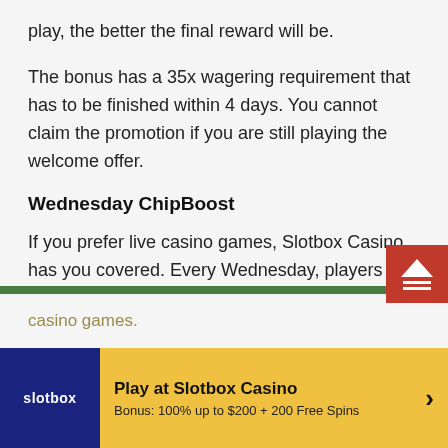play, the better the final reward will be.
The bonus has a 35x wagering requirement that has to be finished within 4 days. You cannot claim the promotion if you are still playing the welcome offer.
Wednesday ChipBoost
If you prefer live casino games, Slotbox Casino has you covered. Every Wednesday, players can win $10 worth of free chips.
To achieve this, you need to opt into the bonus and then make a deposit of $50 or more. Players then have to wager $200 or more on any of the available live casino games.
[Figure (other): Slotbox Casino promotional banner with logo and bonus offer: Play at Slotbox Casino, Bonus: 100% up to $200 + 200 Free Spins]